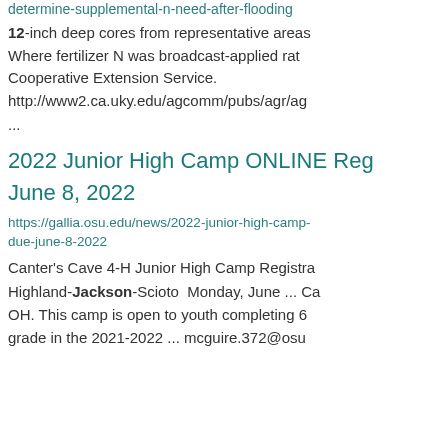determine-supplemental-n-need-after-flooding
12-inch deep cores from representative areas Where fertilizer N was broadcast-applied rat Cooperative Extension Service. http://www2.ca.uky.edu/agcomm/pubs/agr/ag ...
2022 Junior High Camp ONLINE Reg June 8, 2022
https://gallia.osu.edu/news/2022-junior-high-camp-due-june-8-2022
Canter's Cave 4-H Junior High Camp Registra Highland-Jackson-Scioto Monday, June ... Ca OH. This camp is open to youth completing 6 grade in the 2021-2022 ... mcguire.372@osu